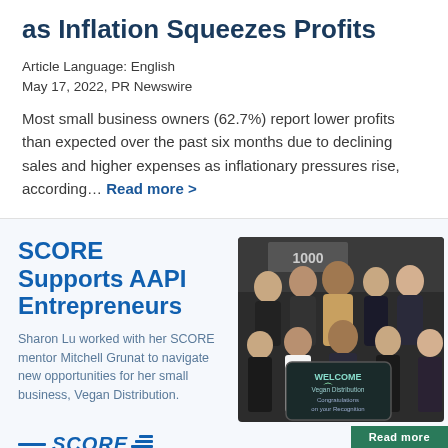as Inflation Squeezes Profits
Article Language: English
May 17, 2022, PR Newswire
Most small business owners (62.7%) report lower profits than expected over the past six months due to declining sales and higher expenses as inflationary pressures rise, according… Read more >
SCORE Supports AAPI Entrepreneurs
Sharon Lu worked with her SCORE mentor Mitchell Grunat to navigate new opportunities for her small business, Vegan Distribution.
[Figure (photo): Group photo of Asian American entrepreneurs and mentors at a SCORE event, holding a chalkboard sign reading WELCOME Vegan Distribution Congratulations on your Recognition]